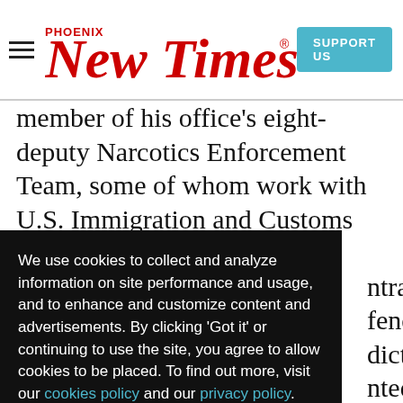Phoenix New Times — SUPPORT US
member of his office's eight-deputy Narcotics Enforcement Team, some of whom work with U.S. Immigration and Customs Enforcement or … ntral … fend … dicts … nted … na. … rlier, Romero busted a car carrying 200 pounds of
We use cookies to collect and analyze information on site performance and usage, and to enhance and customize content and advertisements. By clicking 'Got it' or continuing to use the site, you agree to allow cookies to be placed. To find out more, visit our cookies policy and our privacy policy.
Got it!